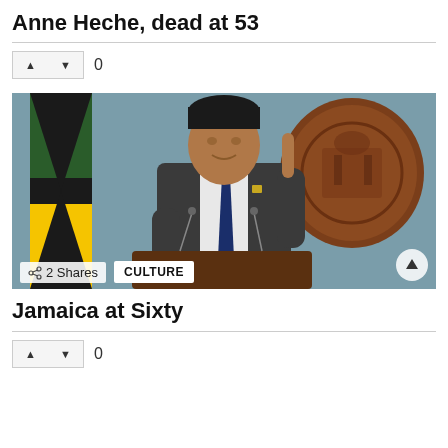Anne Heche, dead at 53
▲ ▼ 0
[Figure (photo): A man in a grey suit with a navy blue tie stands at a podium gesturing with one finger raised. Behind him is a Jamaican flag and a large brown wooden coat of arms. Microphones are visible on the podium.]
2 Shares   CULTURE
Jamaica at Sixty
▲ ▼ 0